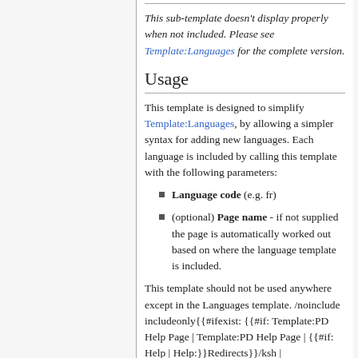This sub-template doesn't display properly when not included. Please see Template:Languages for the complete version.
Usage
This template is designed to simplify Template:Languages, by allowing a simpler syntax for adding new languages. Each language is included by calling this template with the following parameters:
Language code (e.g. fr)
(optional) Page name - if not supplied the page is automatically worked out based on where the language template is included.
This template should not be used anywhere except in the Languages template. /noinclude includeonly{{#ifexist: {{#if: Template:PD Help Page | Template:PD Help Page | {{#if: Help | Help:}}Redirects}}/ksh | nbsp;bull;nbsp;span lang=ksh{{#if: Template:PD Help Page|Ripoarisch|